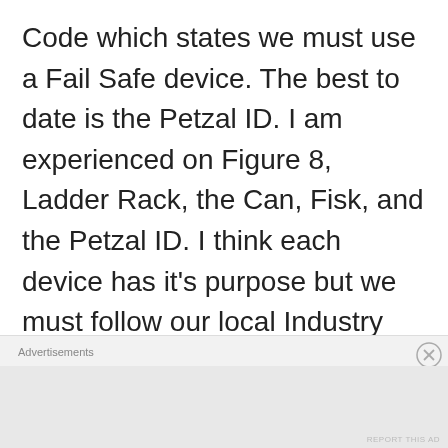Code which states we must use a Fail Safe device. The best to date is the Petzal ID. I am experienced on Figure 8, Ladder Rack, the Can, Fisk, and the Petzal ID. I think each device has it's purpose but we must follow our local Industry Rules. Each Country, Company, and Industry will have
Advertisements